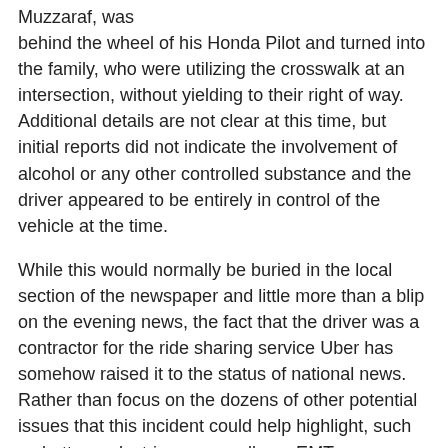Muzzaraf, was behind the wheel of his Honda Pilot and turned into the family, who were utilizing the crosswalk at an intersection, without yielding to their right of way. Additional details are not clear at this time, but initial reports did not indicate the involvement of alcohol or any other controlled substance and the driver appeared to be entirely in control of the vehicle at the time.
While this would normally be buried in the local section of the newspaper and little more than a blip on the evening news, the fact that the driver was a contractor for the ride sharing service Uber has somehow raised it to the status of national news. Rather than focus on the dozens of other potential issues that this incident could help highlight, such as better pedestrian crosswalks or EMT response time or improved licensing requirements, the news media has instead decided to focus on whose insurance should foot the bill. They are trying to make the case to have Uber's commercial insurance cover the incident, even though Muzzaraf was not actively transporting an Uber customer at the time.